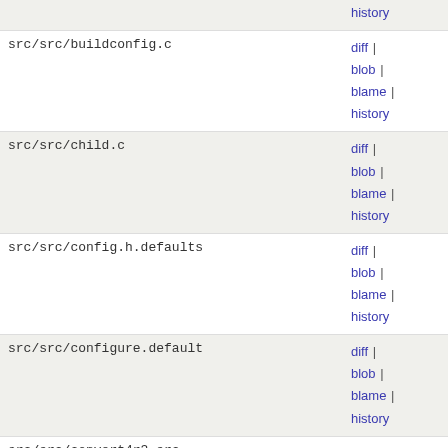| filename | links |
| --- | --- |
| src/src/buildconfig.c | diff | blob | blame | history |
| src/src/child.c | diff | blob | blame | history |
| src/src/config.h.defaults | diff | blob | blame | history |
| src/src/configure.default | diff | blob | blame | history |
| src/src/convert4r3.src | diff | blob | blame | history |
| src/src/convert4r4.src | diff | blob | blame | history |
| src/src/crypt16.c | diff | blob | blame | history |
| src/src/daemon.c | diff | blob | blame | history |
| src/src/dbfn.c | diff | blob | blame | history |
| src/src/dbfunctions.h | diff | ... |